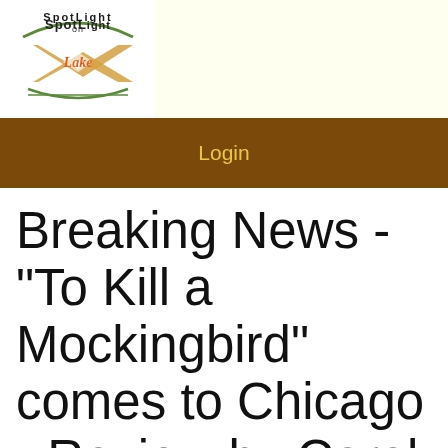[Figure (logo): Spotlight on Lake logo with stylized text and X shape graphic]
Login
Breaking News - "To Kill a Mockingbird" comes to Chicago - Review by Carol Moore
Home